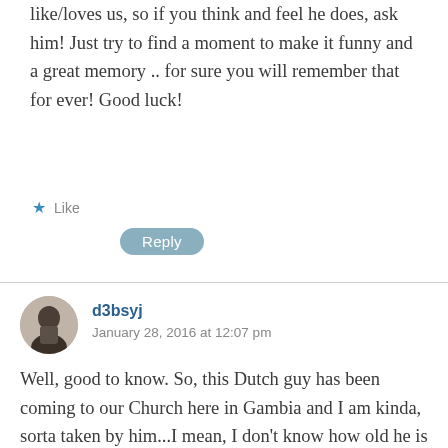like/loves us, so if you think and feel he does, ask him! Just try to find a moment to make it funny and a great memory .. for sure you will remember that for ever! Good luck!
★ Like
Reply
d3bsyj
January 28, 2016 at 12:07 pm
Well, good to know. So, this Dutch guy has been coming to our Church here in Gambia and I am kinda, sorta taken by him...I mean, I don't know how old he is though cos I do find that I would easily not feel comfortable with a guy who is more than 5 years older than I am...he seems cool and I can tell he just sees me as a friend but I would like to be sure that that's true ya know. I am him...